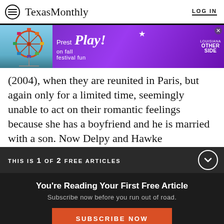Texas Monthly | LOG IN
[Figure (screenshot): Advertisement banner for 'Prest Play! on fall festival fun - Louisiana Other Side' with a ferris wheel image on the left and purple background]
(2004), when they are reunited in Paris, but again only for a limited time, seemingly unable to act on their romantic feelings because she has a boyfriend and he is married with a son. Now Delpy and Hawke
THIS IS 1 OF 2 FREE ARTICLES
You're Reading Your First Free Article
Subscribe now before you run out of road.
SUBSCRIBE NOW
Already a subscriber? Log in